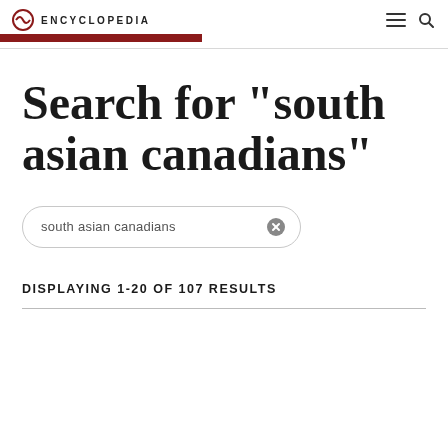ENCYCLOPEDIA
Search for "south asian canadians"
south asian canadians
DISPLAYING 1-20 OF 107 RESULTS